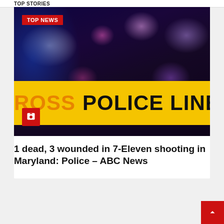TOP STORIES
[Figure (photo): Police crime scene photo showing blurred blue and red/pink police lights in darkness with a yellow 'POLICE LINE DO NOT CROSS' tape in the foreground. A red 'TOP NEWS' badge overlays the top-left corner. A red camera icon box overlays the bottom-left.]
1 dead, 3 wounded in 7-Eleven shooting in Maryland: Police – ABC News